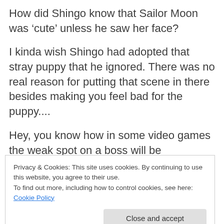How did Shingo know that Sailor Moon was ‘cute’ unless he saw her face?
I kinda wish Shingo had adopted that stray puppy that he ignored. There was no real reason for putting that scene in there besides making you feel bad for the puppy....
Hey, you know how in some video games the weak spot on a boss will be
Privacy & Cookies: This site uses cookies. By continuing to use this website, you agree to their use.
To find out more, including how to control cookies, see here: Cookie Policy
Next up is yet another removed episode